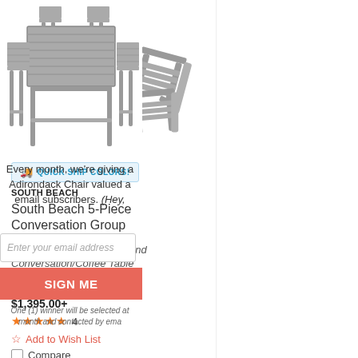[Figure (photo): Gray Adirondack chairs set with round coffee table, 5-piece conversation group, grey color]
[Figure (photo): Gray bar-height dining table with 4 bar chairs set, grey color]
QUICK SHIP COLORS!
SOUTH BEACH
South Beach 5-Piece Conversation Group
4 Adirondack Chairs + Round Conversation/Coffee Table
+13 POLYWOOD® colors
$1,395.00+
★★★★★ 4
Add to Wish List
Compare
Every month, we’re giving a Adirondack Chair valued a email subscribers. (Hey,
Enter your email address
SIGN ME
One (1) winner will be selected at month and contacted by ema